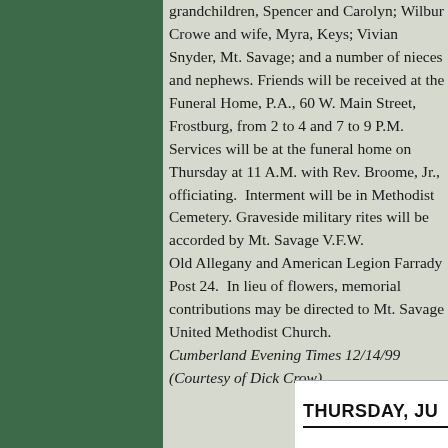grandchildren, Spencer and Carolyn; Wilbur Crowe and wife, Myra, Keys; Vivian Snyder, Mt. Savage; and a number of nieces and nephews. Friends will be received at the Funeral Home, P.A., 60 W. Main Street, Frostburg, from 2 to 4 and 7 to 9 P.M. Services will be at the funeral home on Thursday at 11 A.M. with Rev. Broome, Jr., officiating. Interment will be in Methodist Cemetery. Graveside military rites will be accorded by Mt. Savage V.F.W. Old Allegany and American Legion Farrady Post 24. In lieu of flowers, memorial contributions may be directed to Mt. Savage United Methodist Church. Cumberland Evening Times 12/14/99 (Courtesy of Dick Crow)
THURSDAY, JU